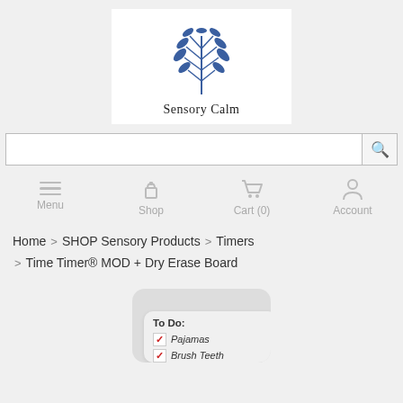[Figure (logo): Sensory Calm logo with blue wheat/leaf graphic and text 'Sensory Calm']
[Figure (screenshot): Search bar with magnifying glass icon]
[Figure (infographic): Navigation bar with Menu, Shop, Cart (0), Account icons]
Home > SHOP Sensory Products > Timers > Time Timer® MOD + Dry Erase Board
[Figure (photo): Product preview image showing a to-do list card with 'To Do: Pajamas, Brush Teeth' partially visible]